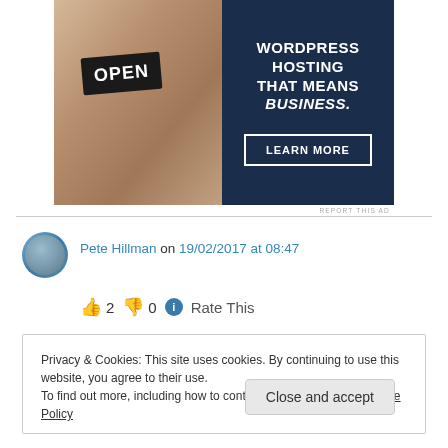[Figure (illustration): Advertisement banner for WordPress Hosting showing a woman holding an OPEN sign on the left (photo), and dark navy blue panel on the right with text 'WORDPRESS HOSTING THAT MEANS BUSINESS.' and a 'LEARN MORE' button]
REPORT THIS AD
Pete Hillman on 19/02/2017 at 08:47
👍 2 👎 0 ℹ Rate This
Privacy & Cookies: This site uses cookies. By continuing to use this website, you agree to their use.
To find out more, including how to control cookies, see here: Cookie Policy
Close and accept